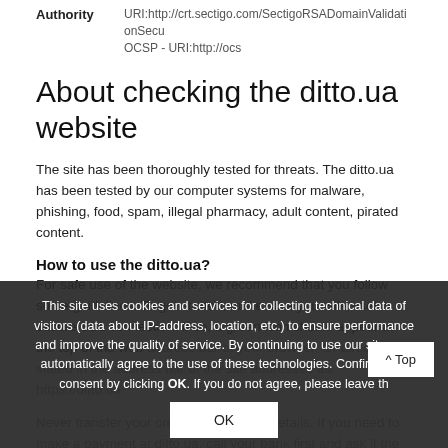Authority   URI:http://crt.sectigo.com/SectigoRSADomainValidationSecu
OCSP - URI:http://ocs
About checking the ditto.ua website
The site has been thoroughly tested for threats. The ditto.ua has been tested by our computer systems for malware, phishing, food, spam, illegal pharmacy, adult content, pirated content.
How to use the ditto.ua?
For safe use of the website, we recommend that you follow some guidelines. To get started, make sure your site uses a secure SSL connection. If so, a green icon should appear at the top of the web address bar of your browser. Or directly stated in the address bar of the site addresses as: https://ditto.ua
Never transfer your credit or debit card details. If you need to make a payment at ditto.ua, call your bank first and ask if the transaction is safe.
This site uses cookies and services for collecting technical data of visitors (data about IP-address, location, etc.) to ensure performance and improve the quality of service. By continuing to use our site, you automatically agree to the use of these technologies. Confirm your consent by clicking OK. If you do not agree, please leave the site.
If you notice that your device has started to perform poorly after visiting the website, leave it immediately and then clear the cache and cookies in